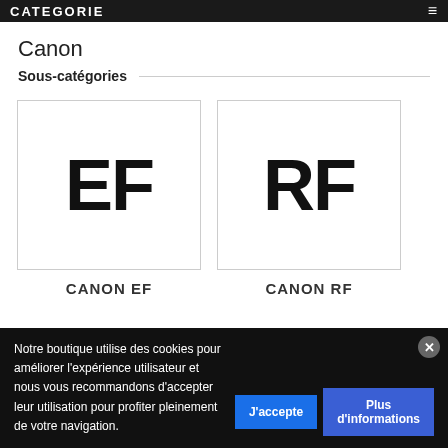CATEGORIE
Canon
Sous-catégories
[Figure (logo): EF logo in large bold black text on white background with border]
CANON EF
[Figure (logo): RF logo in large bold black text on white background with border]
CANON RF
Notre boutique utilise des cookies pour améliorer l'expérience utilisateur et nous vous recommandons d'accepter leur utilisation pour profiter pleinement de votre navigation.